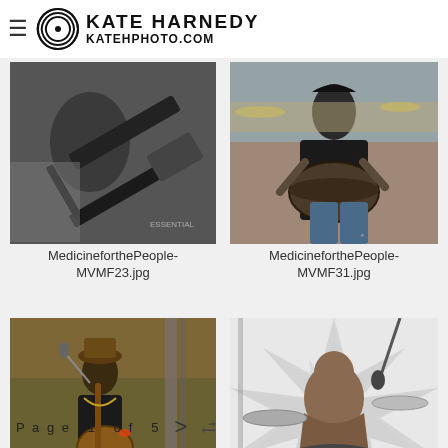KATE HARNEDY KATEHPHOTO.COM
[Figure (photo): Black and white photo of a person playing electric guitar at outdoor festival]
MedicineforthePeople-MVMF23.jpg
[Figure (photo): Color photo of a woman drummer performing at outdoor music festival]
MedicineforthePeople-MVMF31.jpg
[Figure (photo): Color photo of a man playing guitar and singing into microphone at outdoor festival]
[Figure (photo): Black and white photo of a shirtless drummer viewed from behind on stage with geometric background]
Page 1 of 5